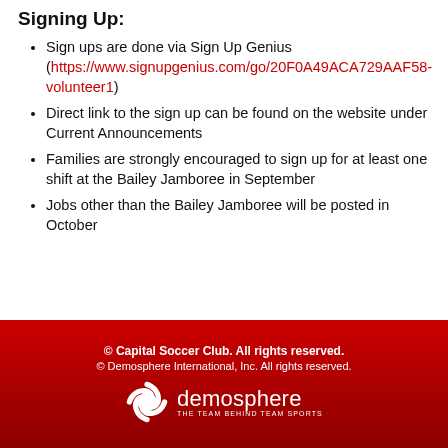Signing Up:
Sign ups are done via Sign Up Genius (https://www.signupgenius.com/go/20F0A49ACA729AAF58-volunteer1)
Direct link to the sign up can be found on the website under Current Announcements
Families are strongly encouraged to sign up for at least one shift at the Bailey Jamboree in September
Jobs other than the Bailey Jamboree will be posted in October
© Capital Soccer Club. All rights reserved. © Demosphere International, Inc. All rights reserved. demosphere THE TEAM BEHIND TEAM SPORTS